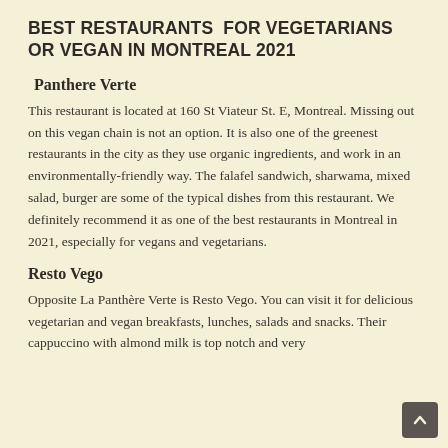BEST RESTAURANTS FOR VEGETARIANS OR VEGAN IN MONTREAL 2021
Panthere Verte
This restaurant is located at 160 St Viateur St. E, Montreal. Missing out on this vegan chain is not an option. It is also one of the greenest restaurants in the city as they use organic ingredients, and work in an environmentally-friendly way. The falafel sandwich, sharwama, mixed salad, burger are some of the typical dishes from this restaurant. We definitely recommend it as one of the best restaurants in Montreal in 2021, especially for vegans and vegetarians.
Resto Vego
Opposite La Panthère Verte is Resto Vego. You can visit it for delicious vegetarian and vegan breakfasts, lunches, salads and snacks. Their cappuccino with almond milk is top notch and very